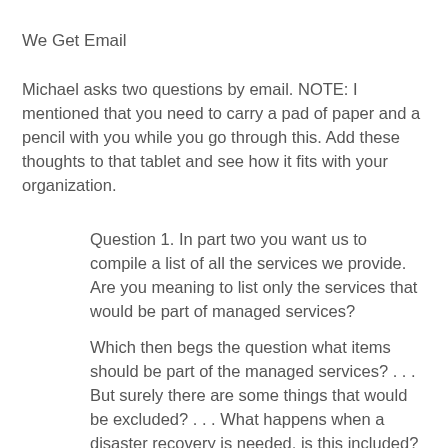We Get Email
Michael asks two questions by email. NOTE: I mentioned that you need to carry a pad of paper and a pencil with you while you go through this. Add these thoughts to that tablet and see how it fits with your organization.
Question 1. In part two you want us to compile a list of all the services we provide. Are you meaning to list only the services that would be part of managed services?
Which then begs the question what items should be part of the managed services? . . . But surely there are some things that would be excluded? . . . What happens when a disaster recovery is needed, is this included?